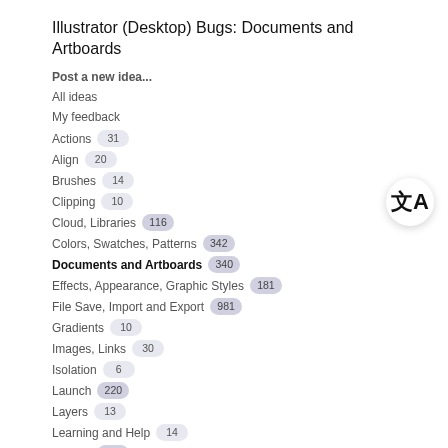Illustrator (Desktop) Bugs: Documents and Artboards
Post a new idea...
All ideas
My feedback
Actions 31
Align 20
Brushes 14
Clipping 10
Cloud, Libraries 116
Colors, Swatches, Patterns 342
Documents and Artboards 340
Effects, Appearance, Graphic Styles 181
File Save, Import and Export 981
Gradients 10
Images, Links 30
Isolation 6
Launch 220
Layers 13
Learning and Help 14
Other... 740